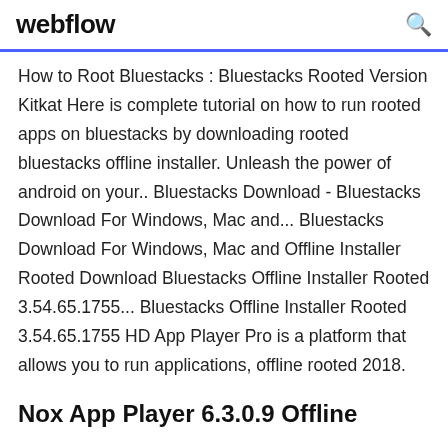webflow
How to Root Bluestacks : Bluestacks Rooted Version Kitkat Here is complete tutorial on how to run rooted apps on bluestacks by downloading rooted bluestacks offline installer. Unleash the power of android on your.. Bluestacks Download - Bluestacks Download For Windows, Mac and... Bluestacks Download For Windows, Mac and Offline Installer Rooted Download Bluestacks Offline Installer Rooted 3.54.65.1755... Bluestacks Offline Installer Rooted 3.54.65.1755 HD App Player Pro is a platform that allows you to run applications, offline rooted 2018.
Nox App Player 6.3.0.9 Offline